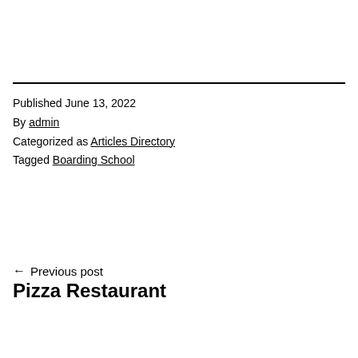Published June 13, 2022
By admin
Categorized as Articles Directory
Tagged Boarding School
← Previous post
Pizza Restaurant